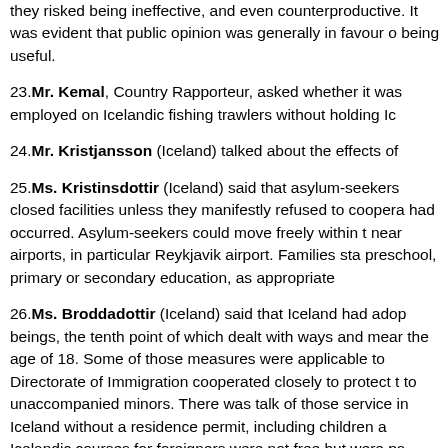they risked being ineffective, and even counterproductive. It was evident that public opinion was generally in favour of being useful.
23. Mr. Kemal, Country Rapporteur, asked whether it was possible to be employed on Icelandic fishing trawlers without holding Ic...
24. Mr. Kristjansson (Iceland) talked about the effects of...
25. Ms. Kristinsdottir (Iceland) said that asylum-seekers were not held in closed facilities unless they manifestly refused to cooperate or incidents had occurred. Asylum-seekers could move freely within the area, except near airports, in particular Reykjavik airport. Families staying there received preschool, primary or secondary education, as appropriate.
26. Ms. Broddadottir (Iceland) said that Iceland had adopted a plan for human beings, the tenth point of which dealt with ways and means for those under the age of 18. Some of those measures were applicable to all. The Directorate of Immigration cooperated closely to protect the rights relating to unaccompanied minors. There was talk of those services available to people in Iceland without a residence permit, including children and women. Icelandic courses for foreigners were not free but were paid for, although unemployed foreigners had to bear the cost of their language courses. Services for women had been set up using public funds in Reykjavik and elsewhere, instead of services provided by NGOs. The percentage of female... meant that they knew such facilities existed, which was c...